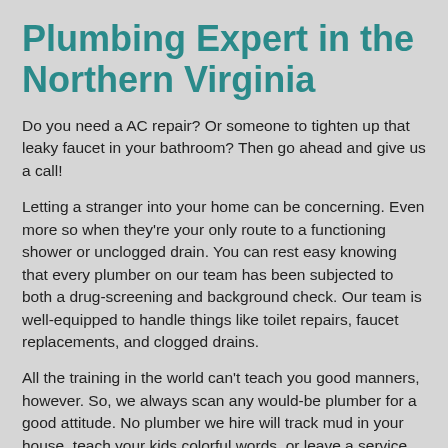Plumbing Expert in the Northern Virginia
Do you need a AC repair? Or someone to tighten up that leaky faucet in your bathroom? Then go ahead and give us a call!
Letting a stranger into your home can be concerning. Even more so when they're your only route to a functioning shower or unclogged drain. You can rest easy knowing that every plumber on our team has been subjected to both a drug-screening and background check. Our team is well-equipped to handle things like toilet repairs, faucet replacements, and clogged drains.
All the training in the world can't teach you good manners, however. So, we always scan any would-be plumber for a good attitude. No plumber we hire will track mud in your house, teach your kids colorful words, or leave a service site